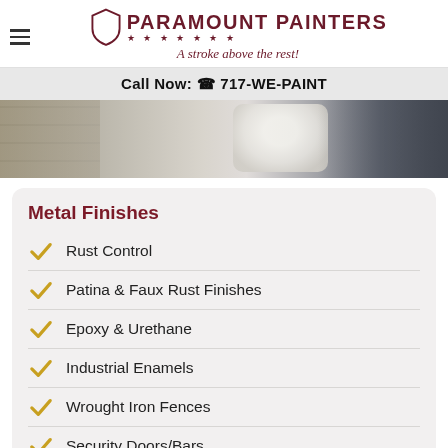Paramount Painters — A stroke above the rest!
Call Now: 717-WE-PAINT
[Figure (photo): Close-up photo of a paint roller applying white/grey paint on a surface with brick or tile visible on the left side.]
Metal Finishes
Rust Control
Patina & Faux Rust Finishes
Epoxy & Urethane
Industrial Enamels
Wrought Iron Fences
Security Doors/Bars